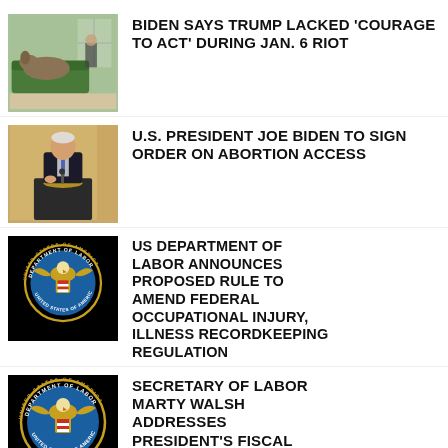[Figure (photo): Photo of a German shepherd dog on a green couch/bed inside what appears to be a room, with a person in background]
BIDEN SAYS TRUMP LACKED 'COURAGE TO ACT' DURING JAN. 6 RIOT
[Figure (photo): Photo of U.S. President Joe Biden speaking at a podium with presidential seal, in a formal room]
U.S. PRESIDENT JOE BIDEN TO SIGN ORDER ON ABORTION ACCESS
[Figure (logo): US Department of Labor seal/logo on black background]
US DEPARTMENT OF LABOR ANNOUNCES PROPOSED RULE TO AMEND FEDERAL OCCUPATIONAL INJURY, ILLNESS RECORDKEEPING REGULATION
[Figure (logo): US Department of Labor seal/logo on black background]
SECRETARY OF LABOR MARTY WALSH ADDRESSES PRESIDENT'S FISCAL YEAR 2023 BUDGET REQUEST